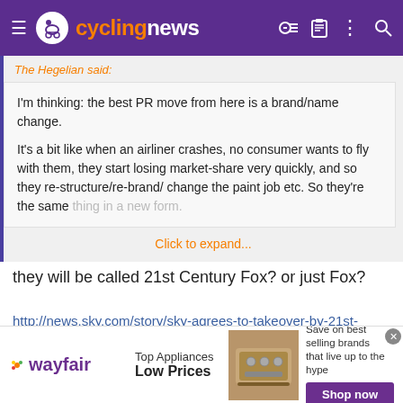cyclingnews
The Hegelian said:
I'm thinking: the best PR move from here is a brand/name change.

It's a bit like when an airliner crashes, no consumer wants to fly with them, they start losing market-share very quickly, and so they re-structure/re-brand/ change the paint job etc. So they're the same thing in a new form.
Click to expand...
they will be called 21st Century Fox? or just Fox?
http://news.sky.com/story/sky-agrees-to-takeover-by-21st-century-fox-10696997
[Figure (screenshot): Wayfair advertisement banner: Top Appliances Low Prices, Save on best selling brands that live up to the hype, Shop now button]